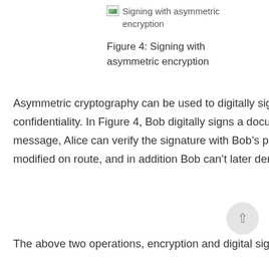[Figure (illustration): Broken image placeholder for 'Signing with asymmetric encryption']
Figure 4: Signing with asymmetric encryption
Asymmetric cryptography can be used to digitally sign a message, offering authentication in addition to confidentiality. In Figure 4, Bob digitally signs a document using his secret private key. After receiving the message, Alice can verify the signature with Bob's public key. This ensures that the message hasn't been modified on route, and in addition Bob can't later deny sending that exact message.
The above two operations, encryption and digital signing, can and are commonly